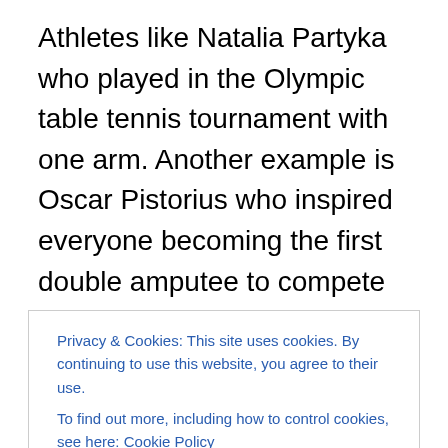Athletes like Natalia Partyka who played in the Olympic table tennis tournament with one arm. Another example is Oscar Pistorius who inspired everyone becoming the first double amputee to compete in the Olympics. These athletes were usually forced to compete in the Paralympics but new rules, and a long legal battle by Pistorius, these athletes were allowed to compete. The London Games also saw a step to the future in terms of gender equality. The London Games saw new sports and new events added to the games in order to create an equal program. The track cycling earned a brand new set
Privacy & Cookies: This site uses cookies. By continuing to use this website, you agree to their use. To find out more, including how to control cookies, see here: Cookie Policy
Games also saw countries breaking the barriers of gender